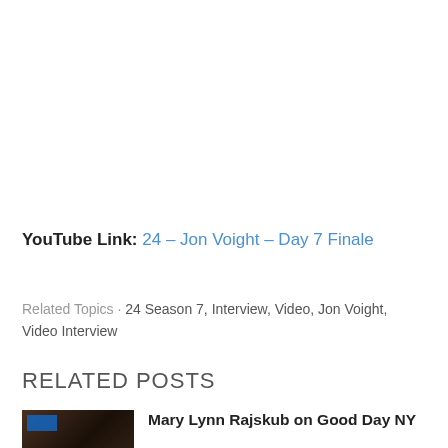YouTube Link: 24 – Jon Voight – Day 7 Finale
Related Topics · 24 Season 7, Interview, Video, Jon Voight, Video Interview
RELATED POSTS
Mary Lynn Rajskub on Good Day NY